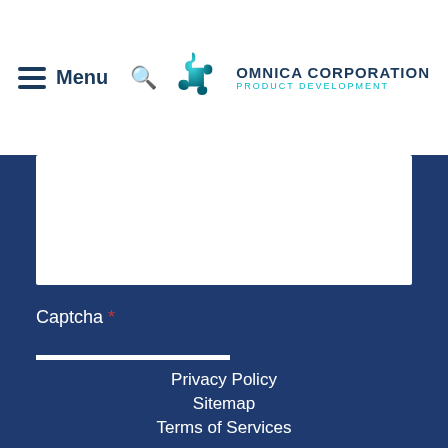Menu — OMNICA CORPORATION PRODUCT DEVELOPMENT
Captcha *
Contact Us
Privacy Policy
Sitemap
Terms of Services